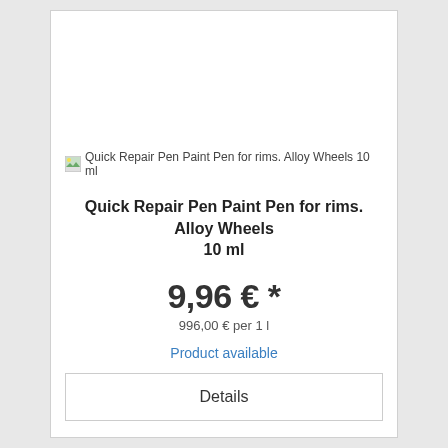[Figure (photo): Product image placeholder for Quick Repair Pen Paint Pen for rims. Alloy Wheels 10 ml]
Quick Repair Pen Paint Pen for rims. Alloy Wheels 10 ml
9,96 € *
996,00 € per 1 l
Product available
Details